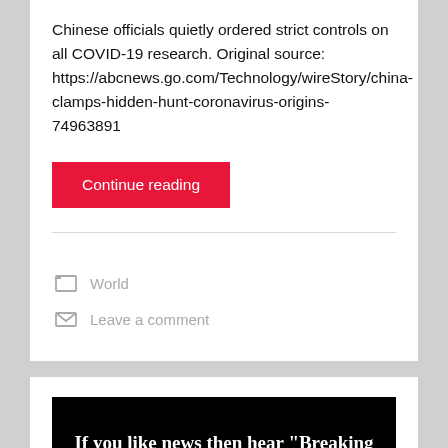Chinese officials quietly ordered strict controls on all COVID-19 research. Original source: https://abcnews.go.com/Technology/wireStory/china-clamps-hidden-hunt-coronavirus-origins-74963891
Continue reading
World
Leave a comment
[Figure (screenshot): Dark promotional banner with bold white serif text reading: If you like news then hear "Breaking News". The host Don Stewart does]
If you like news then hear "Breaking News". The host Don Stewart does